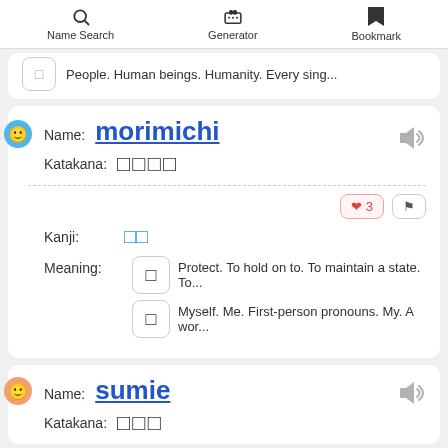Name Search | Generator | Bookmark
People. Human beings. Humanity. Every sing...
Name: morimichi
Katakana: □□□□
♥ 3
Kanji: □□
Meaning: Protect. To hold on to. To maintain a state. To...
Meaning: Myself. Me. First-person pronouns. My. A wor...
Name: sumie
Katakana: □□□